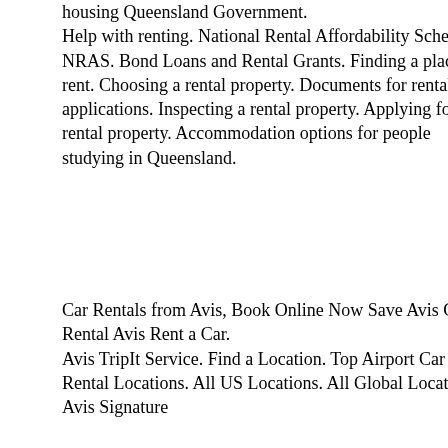housing Queensland Government. Help with renting. National Rental Affordability Scheme NRAS. Bond Loans and Rental Grants. Finding a place to rent. Choosing a rental property. Documents for rental applications. Inspecting a rental property. Applying for a rental property. Accommodation options for people studying in Queensland.
Car Rentals from Avis, Book Online Now Save Avis Car Rental Avis Rent a Car. Avis TripIt Service. Find a Location. Top Airport Car Rental Locations. All US Locations. All Global Locations. Avis Signature